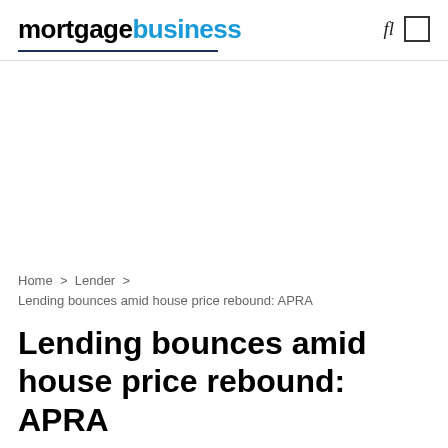mortgagebusiness
Home > Lender > Lending bounces amid house price rebound: APRA
Lending bounces amid house price rebound: APRA